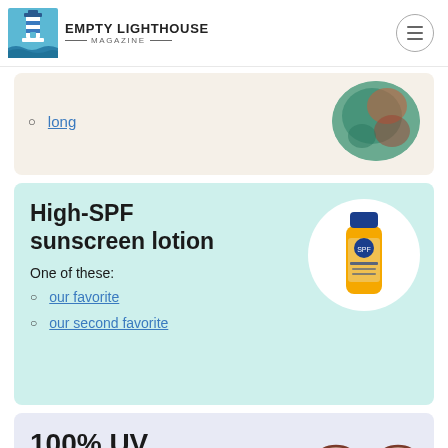Empty Lighthouse Magazine
long
High-SPF sunscreen lotion
One of these:
our favorite
our second favorite
100% UV protection